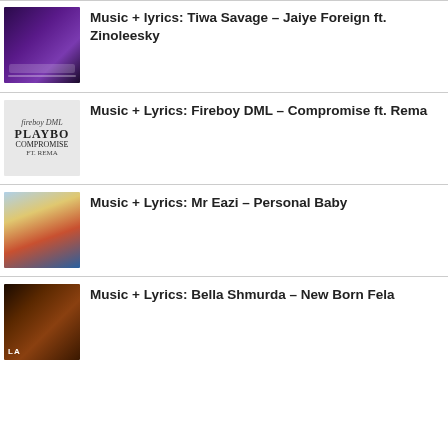Music + lyrics: Tiwa Savage – Jaiye Foreign ft. Zinoleesky
Music + Lyrics: Fireboy DML – Compromise ft. Rema
Music + Lyrics: Mr Eazi – Personal Baby
Music + Lyrics: Bella Shmurda – New Born Fela